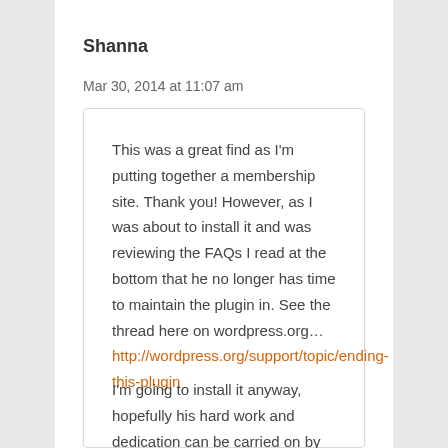Shanna
Mar 30, 2014 at 11:07 am
This was a great find as I'm putting together a membership site. Thank you! However, as I was about to install it and was reviewing the FAQs I read at the bottom that he no longer has time to maintain the plugin in. See the thread here on wordpress.org… http://wordpress.org/support/topic/ending-this-plugin
I'm going to install it anyway, hopefully his hard work and dedication can be carried on by equally dedicated plugin programmers in the wp space.